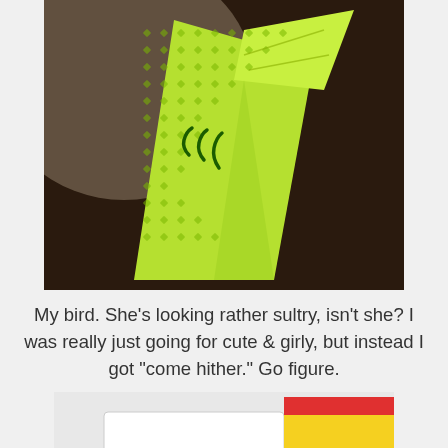[Figure (photo): A green patterned paper bird/origami-style figure with dark green eyelashes/markings, against a dark brown background. The paper is lime green with a small diamond/square pattern.]
My bird. She's looking rather sultry, isn't she? I was really just going for cute & girly, but instead I got "come hither." Go figure.
[Figure (photo): Partial view of another craft item with yellow and red colors, partially cut off at the bottom of the page.]